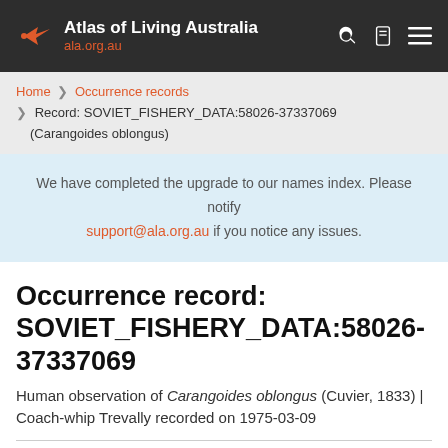Atlas of Living Australia ala.org.au
Home > Occurrence records > Record: SOVIET_FISHERY_DATA:58026-37337069 (Carangoides oblongus)
We have completed the upgrade to our names index. Please notify support@ala.org.au if you notice any issues.
Occurrence record: SOVIET_FISHERY_DATA:58026-37337069
Human observation of Carangoides oblongus (Cuvier, 1833) | Coach-whip Trevally recorded on 1975-03-09
Flag an issue